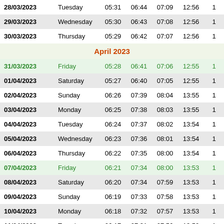| Date | Day | Col3 | Col4 | Col5 | Col6 | Col7 |
| --- | --- | --- | --- | --- | --- | --- |
| 28/03/2023 | Tuesday | 05:31 | 06:44 | 07:09 | 12:56 | 1 |
| 29/03/2023 | Wednesday | 05:30 | 06:43 | 07:08 | 12:56 | 1 |
| 30/03/2023 | Thursday | 05:29 | 06:42 | 07:07 | 12:56 | 1 |
| April 2023 |  |  |  |  |  |  |
| 31/03/2023 | Friday | 05:28 | 06:41 | 07:06 | 12:55 | 1 |
| 01/04/2023 | Saturday | 05:27 | 06:40 | 07:05 | 12:55 | 1 |
| 02/04/2023 | Sunday | 06:26 | 07:39 | 08:04 | 13:55 | 1 |
| 03/04/2023 | Monday | 06:25 | 07:38 | 08:03 | 13:55 | 1 |
| 04/04/2023 | Tuesday | 06:24 | 07:37 | 08:02 | 13:54 | 1 |
| 05/04/2023 | Wednesday | 06:23 | 07:36 | 08:01 | 13:54 | 1 |
| 06/04/2023 | Thursday | 06:22 | 07:35 | 08:00 | 13:54 | 1 |
| 07/04/2023 | Friday | 06:21 | 07:34 | 08:00 | 13:53 | 1 |
| 08/04/2023 | Saturday | 06:20 | 07:34 | 07:59 | 13:53 | 1 |
| 09/04/2023 | Sunday | 06:19 | 07:33 | 07:58 | 13:53 | 1 |
| 10/04/2023 | Monday | 06:18 | 07:32 | 07:57 | 13:53 | 1 |
| 11/04/2023 | Tuesday | 06:17 | 07:31 | 07:56 | 13:52 | 1 |
| 12/04/2023 | Wednesday | 06:16 | 07:30 | 07:55 | 13:52 | 1 |
| 13/04/2023 | Thursday | 06:15 | 07:29 | 07:54 | 13:52 | 1 |